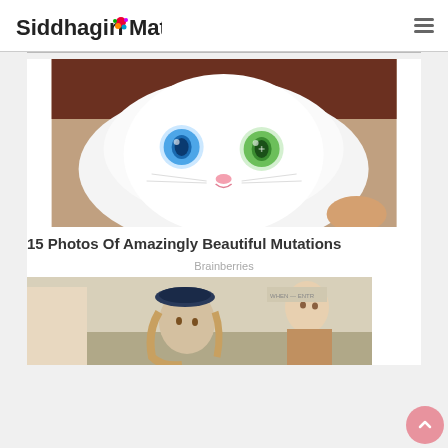Siddhagiri-Math
[Figure (photo): Close-up of a white cat with heterochromia — one blue eye and one green eye, looking directly at the camera. A human hand is partially visible in the lower right corner.]
15 Photos Of Amazingly Beautiful Mutations
Brainberries
[Figure (photo): A group of people including a man wearing a navy beret and another person looking serious, seemingly at some indoor location.]